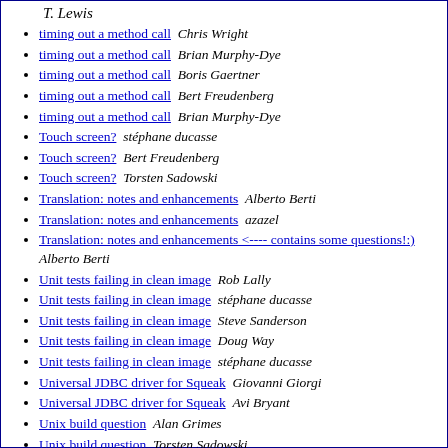T. Lewis
timing out a method call   Chris Wright
timing out a method call   Brian Murphy-Dye
timing out a method call   Boris Gaertner
timing out a method call   Bert Freudenberg
timing out a method call   Brian Murphy-Dye
Touch screen?   stéphane ducasse
Touch screen?   Bert Freudenberg
Touch screen?   Torsten Sadowski
Translation: notes and enhancements   Alberto Berti
Translation: notes and enhancements   azazel
Translation: notes and enhancements <---- contains some questions!:)   Alberto Berti
Unit tests failing in clean image   Rob Lally
Unit tests failing in clean image   stéphane ducasse
Unit tests failing in clean image   Steve Sanderson
Unit tests failing in clean image   Doug Way
Unit tests failing in clean image   stéphane ducasse
Universal JDBC driver for Squeak   Giovanni Giorgi
Universal JDBC driver for Squeak   Avi Bryant
Unix build question   Alan Grimes
Unix build question   Torsten Sadowski
Unix build question   Bert Freudenberg
Unix build question   Torsten Sadowski
Unix build question   Tim Rowledge